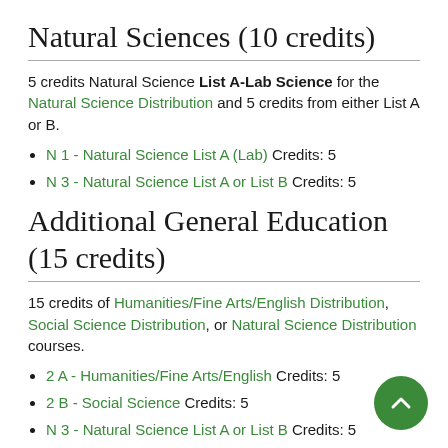Natural Sciences (10 credits)
5 credits Natural Science List A-Lab Science for the Natural Science Distribution and 5 credits from either List A or B.
N 1 - Natural Science List A (Lab) Credits: 5
N 3 - Natural Science List A or List B Credits: 5
Additional General Education (15 credits)
15 credits of Humanities/Fine Arts/English Distribution, Social Science Distribution, or Natural Science Distribution courses.
2 A - Humanities/Fine Arts/English Credits: 5
2 B - Social Science Credits: 5
N 3 - Natural Science List A or List B Credits: 5